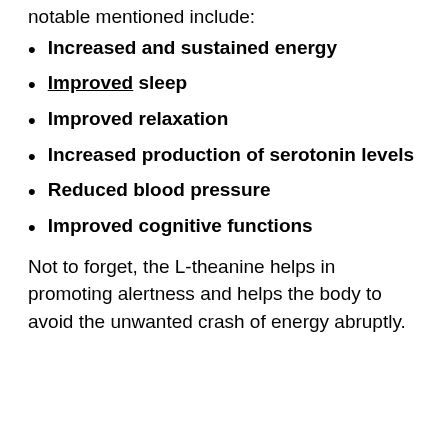notable mentioned include:
Increased and sustained energy
Improved sleep
Improved relaxation
Increased production of serotonin levels
Reduced blood pressure
Improved cognitive functions
Not to forget, the L-theanine helps in promoting alertness and helps the body to avoid the unwanted crash of energy abruptly.